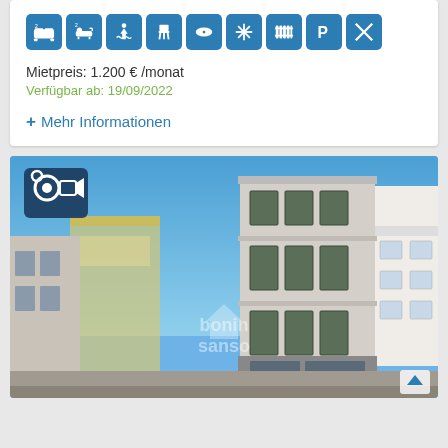[Figure (infographic): Row of blue icon badges showing: 2 bedrooms, 2 bathrooms, pool/elevator, chair/dining, eye/view, snowflake/AC, heating/radiator, parking P, no smoking (crossed)]
Mietpreis: 1.200 € /monat
Verfügbar ab: 19/09/2022
+ Mehr Informationen
[Figure (photo): Exterior photo of a multi-story residential building with dark shuttered windows, white and grey facade, blue sky background. Camera/video icon overlay in top-left corner. Bonin Sanso watermark in center.]